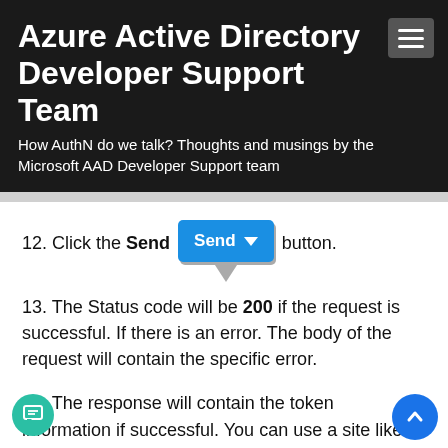Azure Active Directory Developer Support Team
How AuthN do we talk? Thoughts and musings by the Microsoft AAD Developer Support team
12. Click the Send [Send button] button.
13. The Status code will be 200 if the request is successful. If there is an error. The body of the request will contain the specific error.
14. The response will contain the token information if successful. You can use a site like http://jwt.ms to decode, both, the access_token and id_token properties. The following illustration is an example of a successful POST to a B2C ROPC Policy token end point: